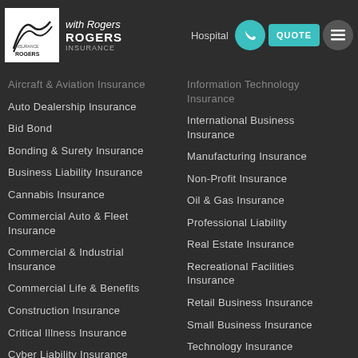with Rogers | Rogers Insurance | Hospital... | QUOTE
Aircraft & Aviation Insurance
Auto Dealership Insurance
Bid Bond
Bonding & Surety Insurance
Business Liability Insurance
Cannabis Insurance
Commercial Auto & Fleet Insurance
Commercial & Industrial Insurance
Commercial Life & Benefits
Construction Insurance
Critical Illness Insurance
Cyber Liability Insurance
Disability Insurance
Enterprise Risk Management
Information Technology Insurance
International Business Insurance
Manufacturing Insurance
Non-Profit Insurance
Oil & Gas Insurance
Professional Liability
Real Estate Insurance
Recreational Facilities Insurance
Retail Business Insurance
Small Business Insurance
Technology Insurance
Trucking & Transport Insurance